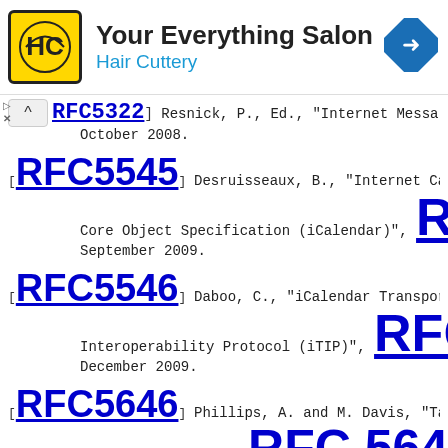[Figure (other): Hair Cuttery advertisement banner with logo, 'Your Everything Salon' text, and a navigation arrow icon]
[RFC5322] Resnick, P., Ed., "Internet Messa... October 2008.
[RFC5545] Desruisseaux, B., "Internet Calen... Core Object Specification (iCalendar)", RF... September 2009.
[RFC5546] Daboo, C., "iCalendar Transport-I... Interoperability Protocol (iTIP)", RFC... December 2009.
[RFC5646] Phillips, A. and M. Davis, "Tags... Languages", BCP 47, RFC 5646, Se...